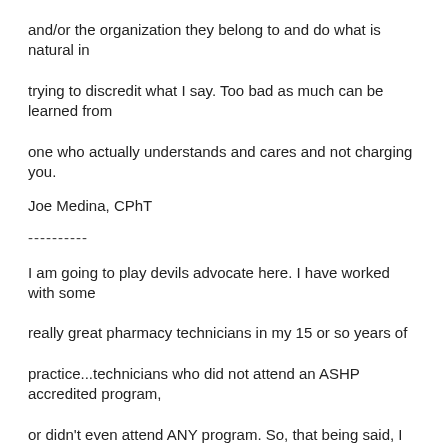and/or the organization they belong to and do what is natural in trying to discredit what I say. Too bad as much can be learned from one who actually understands and cares and not charging you.
Joe Medina, CPhT
----------
I am going to play devils advocate here. I have worked with some really great pharmacy technicians in my 15 or so years of practice...technicians who did not attend an ASHP accredited program, or didn't even attend ANY program. So, that being said, I don't care if tech JOHN DOE went to an accredited school, or not. I care about how competent he is in his job. Whatever test he takes, and passes should be some measurement of his competency in pharmacy. We all know real life is different from an EXAM, or THE EXAM.